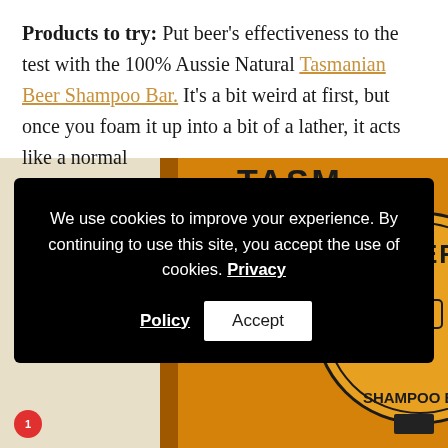Products to try: Put beer's effectiveness to the test with the 100% Aussie Natural Tasmanian Beer Shampoo Bar. It's a bit weird at first, but once you foam it up into a bit of a lather, it acts like a normal
We use cookies to improve your experience. By continuing to use this site, you accept the use of cookies. Privacy Policy  Accept
[Figure (photo): Close-up photo of a Tasmanian Beer Shampoo Bar product packaging — an orange/amber colored bar with 'TASMANIAN BEER' text and a logo featuring a beer mug with foam, circular label design]